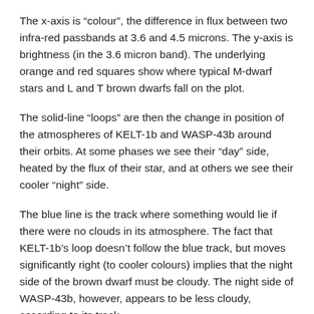The x-axis is “colour”, the difference in flux between two infra-red passbands at 3.6 and 4.5 microns. The y-axis is brightness (in the 3.6 micron band). The underlying orange and red squares show where typical M-dwarf stars and L and T brown dwarfs fall on the plot.
The solid-line “loops” are then the change in position of the atmospheres of KELT-1b and WASP-43b around their orbits. At some phases we see their “day” side, heated by the flux of their star, and at others we see their cooler “night” side.
The blue line is the track where something would lie if there were no clouds in its atmosphere. The fact that KELT-1b’s loop doesn’t follow the blue track, but moves significantly right (to cooler colours) implies that the night side of the brown dwarf must be cloudy. The night side of WASP-43b, however, appears to be less cloudy, according to its track.